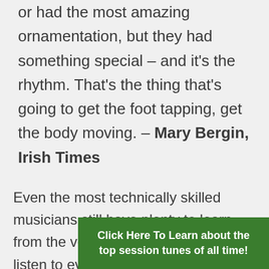or had the most amazing ornamentation, but they had something special – and it's the rhythm. That's the thing that's going to get the foot tapping, get the body moving. – Mary Bergin, Irish Times
Even the most technically skilled musicians still have plenty to learn from the veterans of Irish music. So listen to every recording you can
Click Here To Learn about the top session tunes of all time!